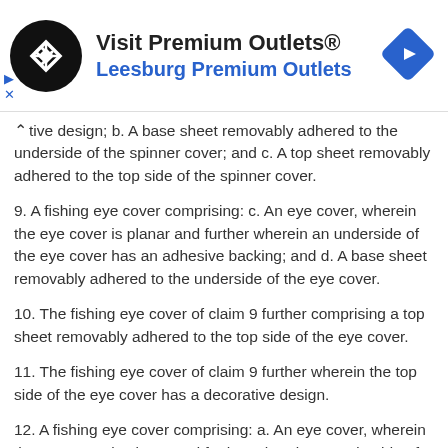[Figure (logo): Advertisement banner for Visit Premium Outlets / Leesburg Premium Outlets with a black circular logo with white diamond arrow shapes, blue navigation diamond icon, and play/close ad controls]
tive design; b. A base sheet removably adhered to the underside of the spinner cover; and c. A top sheet removably adhered to the top side of the spinner cover.
9. A fishing eye cover comprising: c. An eye cover, wherein the eye cover is planar and further wherein an underside of the eye cover has an adhesive backing; and d. A base sheet removably adhered to the underside of the eye cover.
10. The fishing eye cover of claim 9 further comprising a top sheet removably adhered to the top side of the eye cover.
11. The fishing eye cover of claim 9 further wherein the top side of the eye cover has a decorative design.
12. A fishing eye cover comprising: a. An eye cover, wherein the eye cover is planar and further wherein an underside of the eye cover has an adhesive backing and a top side of the eye cover has a decorative design; b. A base sheet removably adhered to the underside of the eye cover; and